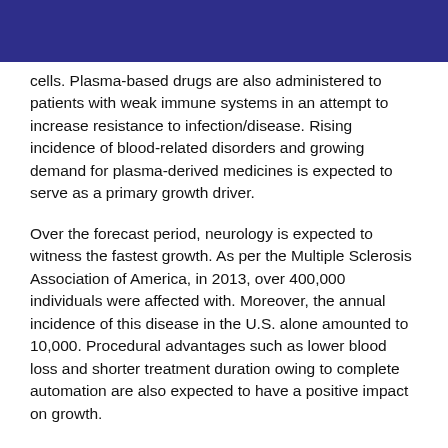cells. Plasma-based drugs are also administered to patients with weak immune systems in an attempt to increase resistance to infection/disease. Rising incidence of blood-related disorders and growing demand for plasma-derived medicines is expected to serve as a primary growth driver.
Over the forecast period, neurology is expected to witness the fastest growth. As per the Multiple Sclerosis Association of America, in 2013, over 400,000 individuals were affected with. Moreover, the annual incidence of this disease in the U.S. alone amounted to 10,000. Procedural advantages such as lower blood loss and shorter treatment duration owing to complete automation are also expected to have a positive impact on growth.
Apheresis machines function by either membrane filtration or centrifugation to help separate the various blood components. As of 2015, centrifugation held